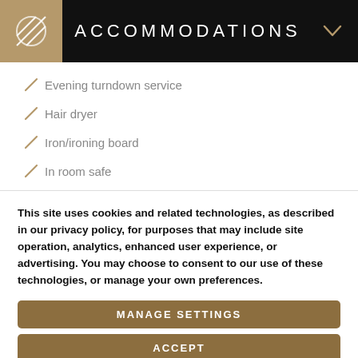ACCOMMODATIONS
Evening turndown service
Hair dryer
Iron/ironing board
In room safe
Individual air controls
This site uses cookies and related technologies, as described in our privacy policy, for purposes that may include site operation, analytics, enhanced user experience, or advertising. You may choose to consent to our use of these technologies, or manage your own preferences.
MANAGE SETTINGS
ACCEPT
DECLINE ALL
PRIVACY POLICY